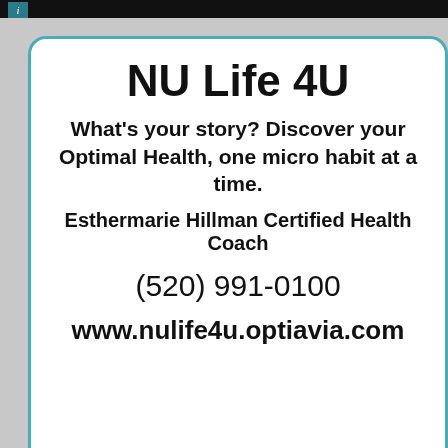[Figure (infographic): NU Life 4U advertisement card with teal border showing business name, tagline, coach name, phone number, and website. Below is a thumbnail carousel strip on black background with navigation arrows and 5 thumbnail cards. Bottom section is gray with partial white card at bottom.]
NU Life 4U
What's your story? Discover your Optimal Health, one micro habit at a time.
Esthermarie Hillman Certified Health Coach
(520) 991-0100
www.nulife4u.optiavia.com